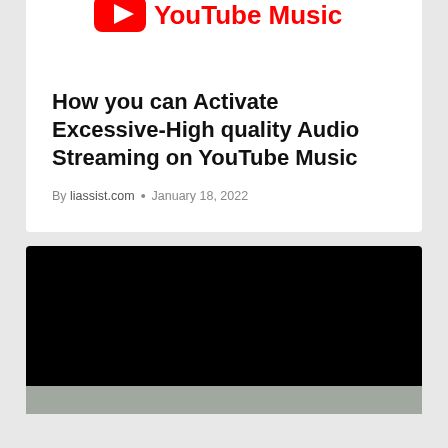[Figure (logo): YouTube Music logo — red rectangle with play button icon and 'YouTube Music' text in red]
How you can Activate Excessive-High quality Audio Streaming on YouTube Music
By liassist.com • January 18, 2022
[Figure (photo): Dark/black image with partial screenshot at bottom, appears to be a YouTube Music app interface screenshot]